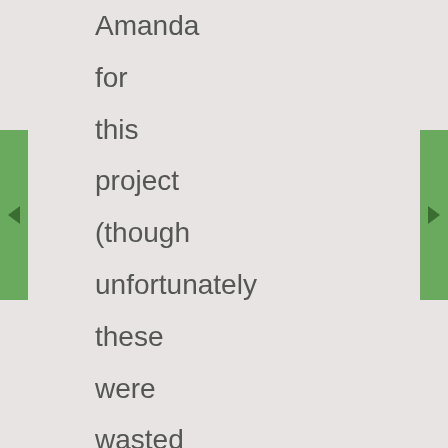Amanda for this project (though unfortunately these were wasted in that aforementioned unfortunate quilt!). I would have participated regardless – I